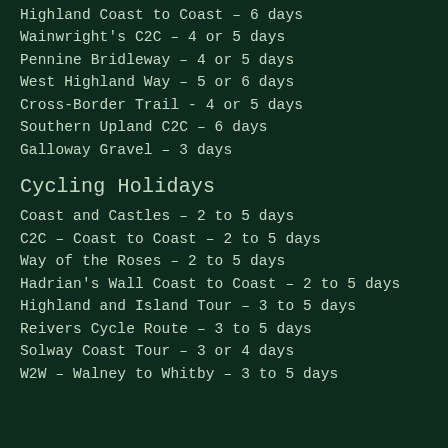Highland Coast to Coast – 6 days
Wainwright's C2C – 4 or 5 days
Pennine Bridleway – 4 or 5 days
West Highland Way – 5 or 6 days
Cross-Border Trail - 4 or 5 days
Southern Upland C2C – 6 days
Galloway Gravel – 3 days
Cycling Holidays
Coast and Castles – 2 to 5 days
C2C – Coast to Coast – 2 to 5 days
Way of the Roses – 2 to 5 days
Hadrian's Wall Coast to Coast – 2 to 5 days
Highland and Island Tour – 3 to 5 days
Reivers Cycle Route – 3 to 5 days
Solway Coast Tour – 3 or 4 days
W2W – Walney to Whitby – 3 to 5 days